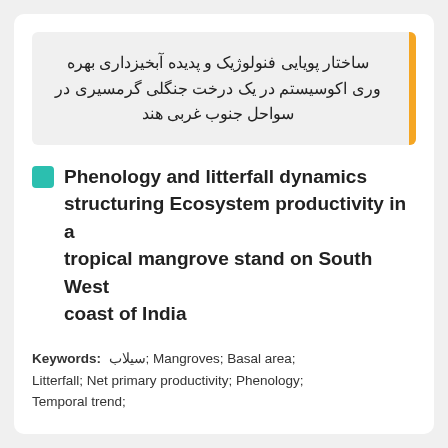ساختار پویایی فنولوژیک و پدیده آبخیزداری بهره وری اکوسیستم در یک درخت جنگلی گرمسیری در سواحل جنوب غربی هند
Phenology and litterfall dynamics structuring Ecosystem productivity in a tropical mangrove stand on South West coast of India
Keywords: سیلاب; Mangroves; Basal area; Litterfall; Net primary productivity; Phenology; Temporal trend;